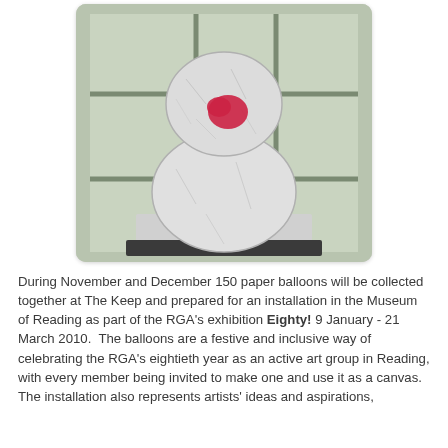[Figure (photo): A paper mache sculpture resembling a snowman or bear shape made from two large paper balloon spheres stacked on each other, with a small red heart shape on the upper sphere. The sculpture sits on a white pedestal/base against a window with grid panes visible in the background.]
During November and December 150 paper balloons will be collected together at The Keep and prepared for an installation in the Museum of Reading as part of the RGA's exhibition Eighty! 9 January - 21 March 2010.  The balloons are a festive and inclusive way of celebrating the RGA's eightieth year as an active art group in Reading, with every member being invited to make one and use it as a canvas. The installation also represents artists' ideas and aspirations, and down on a whole to the mighbors best of